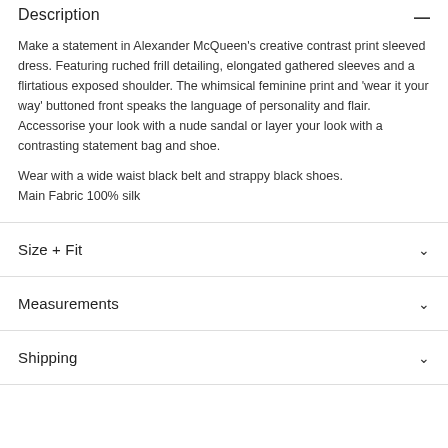Description
Make a statement in Alexander McQueen's creative contrast print sleeved dress. Featuring ruched frill detailing, elongated gathered sleeves and a flirtatious exposed shoulder. The whimsical feminine print and 'wear it your way' buttoned front speaks the language of personality and flair. Accessorise your look with a nude sandal or layer your look with a contrasting statement bag and shoe.
Wear with a wide waist black belt and strappy black shoes.
Main Fabric 100% silk
Size + Fit
Measurements
Shipping